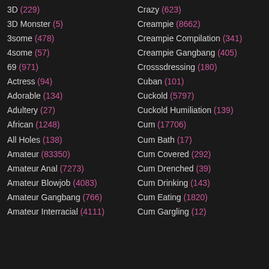3D (229)
3D Monster (5)
3some (478)
4some (57)
69 (971)
Actress (94)
Adorable (134)
Adultery (27)
African (1248)
All Holes (138)
Amateur (83350)
Amateur Anal (7273)
Amateur Blowjob (4083)
Amateur Gangbang (766)
Amateur Interracial (4111)
Crazy (623)
Creampie (8662)
Creampie Compilation (341)
Creampie Gangbang (405)
Crosssdressing (180)
Cuban (101)
Cuckold (5797)
Cuckold Humiliation (139)
Cum (17706)
Cum Bath (17)
Cum Covered (292)
Cum Drenched (39)
Cum Drinking (143)
Cum Eating (1820)
Cum Gargling (12)